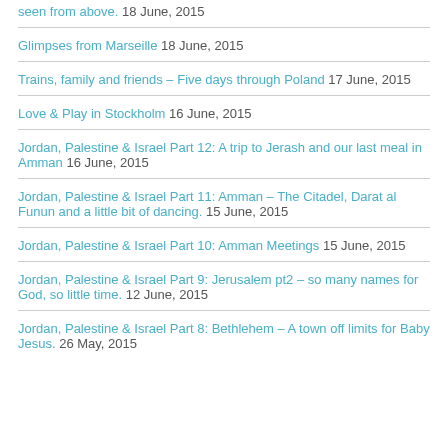seen from above. 18 June, 2015
Glimpses from Marseille 18 June, 2015
Trains, family and friends – Five days through Poland 17 June, 2015
Love & Play in Stockholm 16 June, 2015
Jordan, Palestine & Israel Part 12: A trip to Jerash and our last meal in Amman 16 June, 2015
Jordan, Palestine & Israel Part 11: Amman – The Citadel, Darat al Funun and a little bit of dancing. 15 June, 2015
Jordan, Palestine & Israel Part 10: Amman Meetings 15 June, 2015
Jordan, Palestine & Israel Part 9: Jerusalem pt2 – so many names for God, so little time. 12 June, 2015
Jordan, Palestine & Israel Part 8: Bethlehem – A town off limits for Baby Jesus. 26 May, 2015